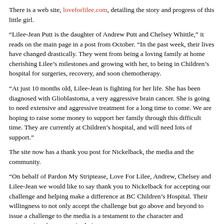There is a web site, loveforlilee.com, detailing the story and progress of this little girl.
“Lilee-Jean Putt is the daughter of Andrew Putt and Chelsey Whittle,” it reads on the main page in a post from October. “In the past week, their lives have changed drastically. They went from being a loving family at home cherishing Lilee’s milestones and growing with her, to being in Children’s hospital for surgeries, recovery, and soon chemotherapy.
“At just 10 months old, Lilee-Jean is fighting for her life. She has been diagnosed with Glioblastoma, a very aggressive brain cancer. She is going to need extensive and aggressive treatment for a long time to come. We are hoping to raise some money to support her family through this difficult time. They are currently at Children’s hospital, and will need lots of support.”
The site now has a thank you post for Nickelback, the media and the community.
“On behalf of Pardon My Striptease, Love For Lilee, Andrew, Chelsey and Lilee-Jean we would like to say thank you to Nickelback for accepting our challenge and helping make a difference at BC Children’s Hospital. Their willingness to not only accept the challenge but go above and beyond to issue a challenge to the media is a testament to the character and generousity of everyone in their group.
“The media played such a big part in this challenge as well and it is humbling to know that when a message needed to get out there was no hesitation in picking up this story. We cannot thank you enough.”
As Kroeger reiterates in his press statement: “We don’t want anyone to lose sight of what this is really about.  This is about helping Lilee-Jean Putt and so many other children receiving world class care at our own BC Children’s Hospital.  We are hopeful others will join us.”